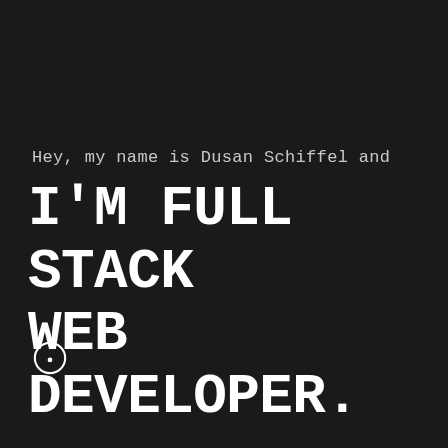Hey, my name is Dusan Schiffel and
I'M FULL STACK WEB DEVELOPER.
[Figure (illustration): Small cursor/mouse pointer icon in white outline style with a dot in the center, bottom-left area of the page]